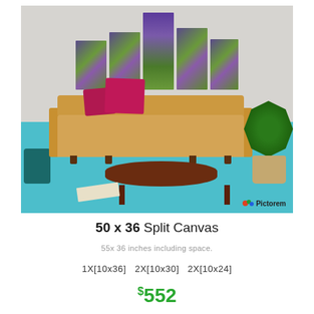[Figure (photo): Room scene showing a modern living room with a tan sofa, red pillows, dark wooden coffee table, teal stool, potted plant, and a 5-panel split canvas artwork displayed on the wall above the sofa. The floor is teal/turquoise. A Pictorem watermark logo is in the bottom right corner.]
50 x 36 Split Canvas
55x 36 inches including space.
1X[10x36]   2X[10x30]   2X[10x24]
$552